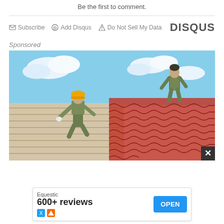Be the first to comment.
Subscribe  Add Disqus  Do Not Sell My Data   DISQUS
Sponsored
[Figure (photo): Two roofers in camouflage clothing installing red tile roofing on a house. One worker wears a yellow hard hat and is in the foreground crouching on wooden roof battens; another worker stands in the background on the right. Blue sky with white clouds visible.]
Equestic
600+ reviews
OPEN